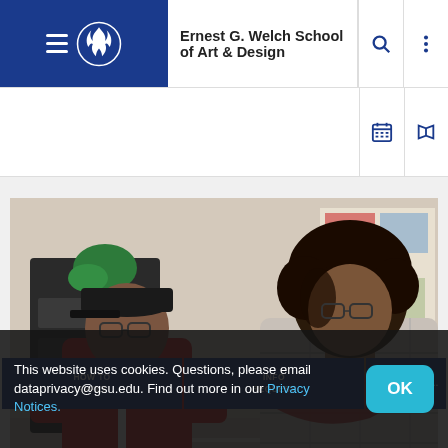Ernest G. Welch School of Art & Design
[Figure (photo): Two students sitting at a desk in a classroom/studio. One student in a red hoodie and black cap is writing, the other with curly hair and a plaid shirt and red scarf is looking down at work. Design/artwork boards visible in background.]
HOW TO APPLY
INFO REQUEST
BACK TO DE...
This website uses cookies. Questions, please email dataprivacy@gsu.edu. Find out more in our Privacy Notices.